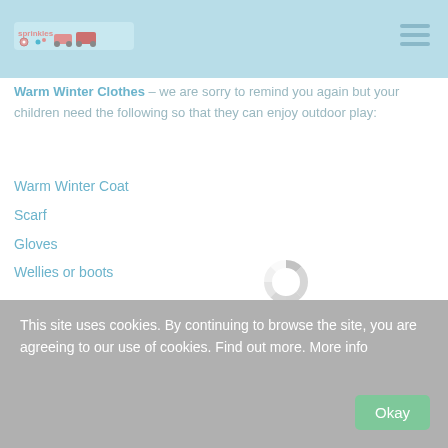Sprinkles nursery logo and navigation
Warm Winter Clothes – we are sorry to remind you again but your children need the following so that they can enjoy outdoor play:
Warm Winter Coat
Scarf
Gloves
Wellies or boots
[Figure (other): Loading spinner icon, circular grey segmented ring]
Independent Children – we will continue to encourage independence in the Playhouse! You can help us by letting your children get themselves ready for their Playhouse sessions. It doesn't matter how long it takes them to take off their coats and boots...
This site uses cookies. By continuing to browse the site, you are agreeing to our use of cookies. Find out more. More info